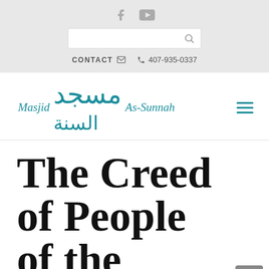[Figure (screenshot): Social media icons: Facebook and YouTube in gray]
[Figure (screenshot): Search bar with magnifying glass icon]
CONTACT ✉  📞 407-935-0337
[Figure (logo): Masjid As-Sunnah logo with Arabic calligraphy text in teal/italic serif]
[Figure (infographic): Hamburger menu icon (three teal lines)]
The Creed of People of the